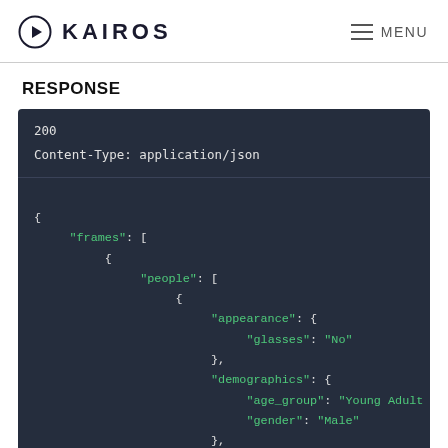KAIROS   MENU
RESPONSE
200
Content-Type: application/json

{
     "frames": [
          {
               "people": [
                    {
                         "appearance": {
                              "glasses": "No"
                         },
                         "demographics": {
                              "age_group": "Young Adult
                              "gender": "Male"
                         },
                         "distance": 109.005,